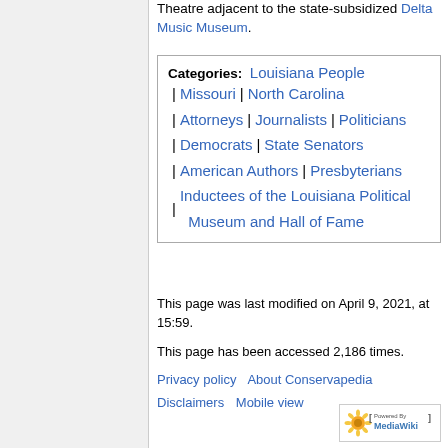Theatre adjacent to the state-subsidized Delta Music Museum.
Categories:  Louisiana People | Missouri | North Carolina | Attorneys | Journalists | Politicians | Democrats | State Senators | American Authors | Presbyterians | Inductees of the Louisiana Political Museum and Hall of Fame
This page was last modified on April 9, 2021, at 15:59.
This page has been accessed 2,186 times.
Privacy policy    About Conservapedia
Disclaimers    Mobile view
[Figure (logo): Powered by MediaWiki logo badge]